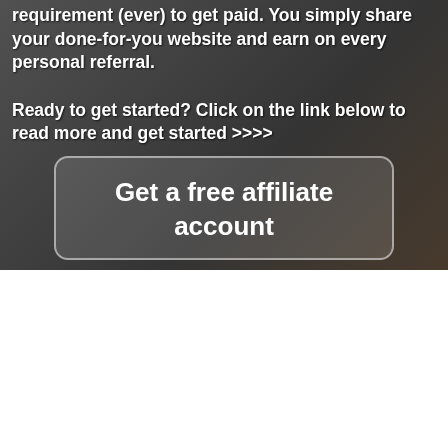requirement (ever) to get paid. You simply share your done-for-you website and earn on every personal referral.
Ready to get started? Click on the link below to read more and get started >>>>
[Figure (other): Button or banner with text: Get a free affiliate account, displayed on a dark semi-transparent rounded rectangle overlay on a collage background]
We use cookies on our website to give you the most relevant experience by remembering your preferences and repeat visits. By clicking "Accept All", you consent to the use of ALL the cookies. However, you may visit "Cookie Settings" to provide a controlled consent.
Cookie Settings
Accept All